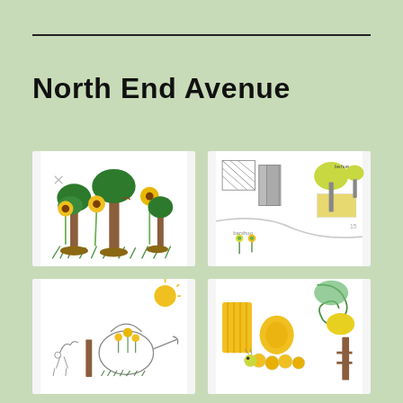North End Avenue
[Figure (illustration): Child's drawing of sunflowers and trees with brown trunks and green foliage, yellow sunflower blooms, green grass at base]
[Figure (illustration): Child's pencil drawing of a street scene with buildings, trees, a barber shop sign, and small flower figures]
[Figure (illustration): Child's drawing of a watering can with flowers, a deer or horse figure, and sunflowers]
[Figure (illustration): Child's drawing of yellow striped shapes, a caterpillar, green and yellow swirling forms, and a fence post]